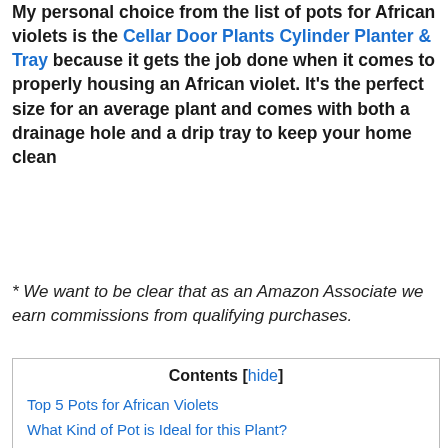My personal choice from the list of pots for African violets is the Cellar Door Plants Cylinder Planter & Tray because it gets the job done when it comes to properly housing an African violet. It's the perfect size for an average plant and comes with both a drainage hole and a drip tray to keep your home clean
* We want to be clear that as an Amazon Associate we earn commissions from qualifying purchases.
| Contents |
| --- |
| Top 5 Pots for African Violets |
| What Kind of Pot is Ideal for this Plant? |
| Our List Of Pots for African Violets |